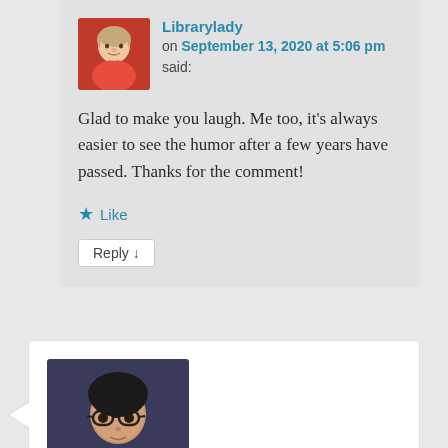Librarylady on September 13, 2020 at 5:06 pm said:
Glad to make you laugh. Me too, it's always easier to see the humor after a few years have passed. Thanks for the comment!
★ Like
Reply ↓
[Figure (photo): Avatar photo of Librarylady: older woman in red top]
Jan on September 2, 2020 at 12:03 am said:
[Figure (photo): Avatar photo of Jan: young woman with glasses and dark hair]